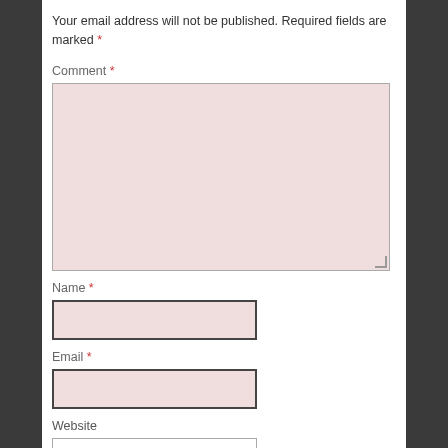Your email address will not be published. Required fields are marked *
Comment *
[Figure (other): Large comment textarea with pink background]
Name *
[Figure (other): Name input box with pink background and dark border]
Email *
[Figure (other): Email input box with pink background and dark border]
Website
[Figure (other): Website input box with white background and light border]
[Figure (other): Checkbox (unchecked)]
Save my name, email, and website in this browser for the next time I comment.